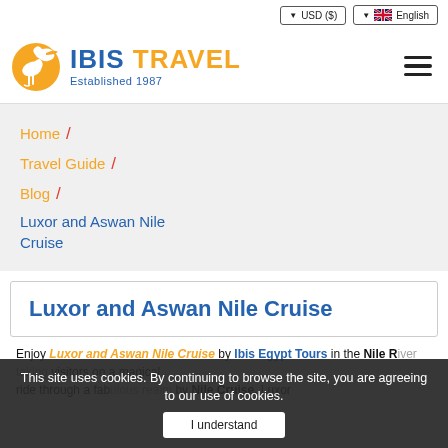USD ($)  English
[Figure (logo): Ibis Travel logo with orange ibis bird icon and blue/orange text reading IBIS TRAVEL, Established 1987]
Home /
Travel Guide /
Blog /
Luxor and Aswan Nile Cruise
Luxor and Aswan Nile Cruise
This site uses cookies. By continuing to browse the site, you are agreeing to our use of cookies.
Enjoy Luxor and Aswan Nile Cruise by Ibis Egypt Tours in the Nile River taking visitors on a magical ride through a fabulous realm by Nile Cruise. Luxor